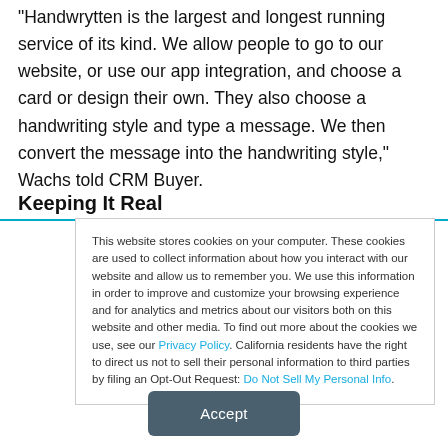"Handwrytten is the largest and longest running service of its kind. We allow people to go to our website, or use our app integration, and choose a card or design their own. They also choose a handwriting style and type a message. We then convert the message into the handwriting style," Wachs told CRM Buyer.
Keeping It Real
This website stores cookies on your computer. These cookies are used to collect information about how you interact with our website and allow us to remember you. We use this information in order to improve and customize your browsing experience and for analytics and metrics about our visitors both on this website and other media. To find out more about the cookies we use, see our Privacy Policy. California residents have the right to direct us not to sell their personal information to third parties by filing an Opt-Out Request: Do Not Sell My Personal Info.